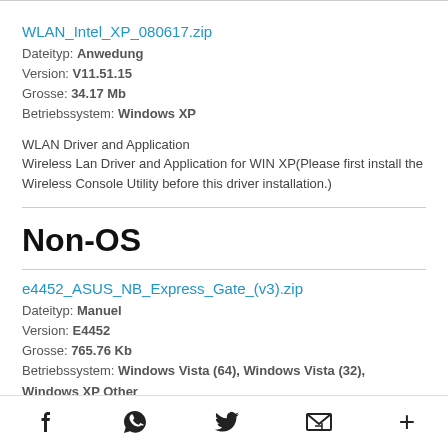WLAN_Intel_XP_080617.zip
Dateityp: Anwedung
Version: V11.51.15
Grosse: 34.17 Mb
Betriebssystem: Windows XP
WLAN Driver and Application
Wireless Lan Driver and Application for WIN XP(Please first install the Wireless Console Utility before this driver installation.)
Non-OS
e4452_ASUS_NB_Express_Gate_(v3).zip
Dateityp: Manuel
Version: E4452
Grosse: 765.76 Kb
Betriebssystem: Windows Vista (64), Windows Vista (32), Windows XP Other
f  [whatsapp]  [twitter]  [email]  +